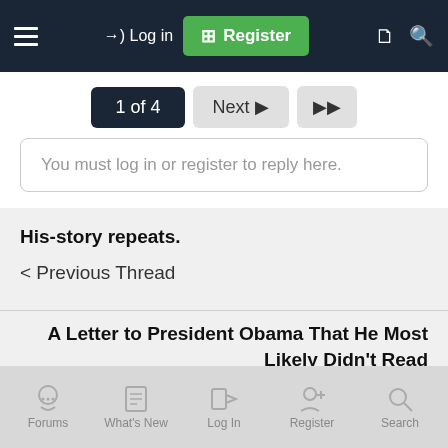Log in | Register
1 of 4  Next  ▶▶
You must log in or register to reply here.
His-story repeats.
< Previous Thread
A Letter to President Obama That He Most Likely Didn't Read
Next Thread >
Forums  What's New  Log In  Register  Search